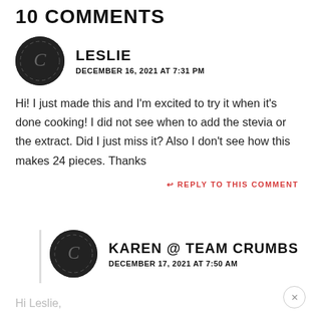10 COMMENTS
LESLIE
DECEMBER 16, 2021 AT 7:31 PM
Hi! I just made this and I'm excited to try it when it's done cooking! I did not see when to add the stevia or the extract. Did I just miss it? Also I don't see how this makes 24 pieces. Thanks
REPLY TO THIS COMMENT
KAREN @ TEAM CRUMBS
DECEMBER 17, 2021 AT 7:50 AM
Hi Leslie,